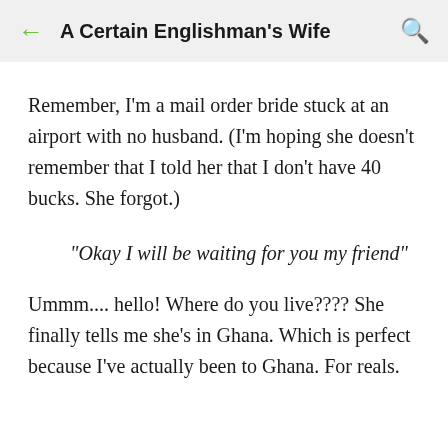A Certain Englishman's Wife
Remember, I'm a mail order bride stuck at an airport with no husband.  (I'm hoping she doesn't remember that I told her that I don't have 40 bucks.  She forgot.)
"Okay I will be waiting for you my friend"
Ummm.... hello!  Where do you live????  She finally tells me she's in Ghana.  Which is perfect because I've actually been to Ghana.  For reals.